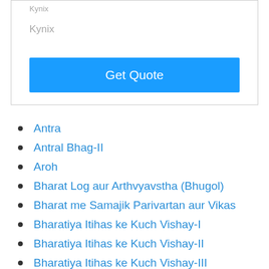Kynix (label/placeholder)
Kynix
Get Quote
Antra
Antral Bhag-II
Aroh
Bharat Log aur Arthvyavstha (Bhugol)
Bharat me Samajik Parivartan aur Vikas
Bharatiya Itihas ke Kuch Vishay-I
Bharatiya Itihas ke Kuch Vishay-II
Bharatiya Itihas ke Kuch Vishay-III